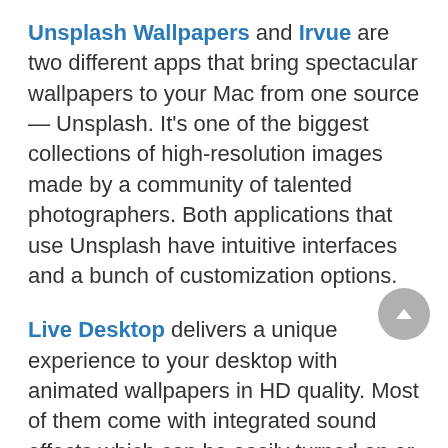Unsplash Wallpapers and Irvue are two different apps that bring spectacular wallpapers to your Mac from one source — Unsplash. It's one of the biggest collections of high-resolution images made by a community of talented photographers. Both applications that use Unsplash have intuitive interfaces and a bunch of customization options.
Live Desktop delivers a unique experience to your desktop with animated wallpapers in HD quality. Most of them come with integrated sound effects which can be easily turned on or turned off. The application also lets users upload their own